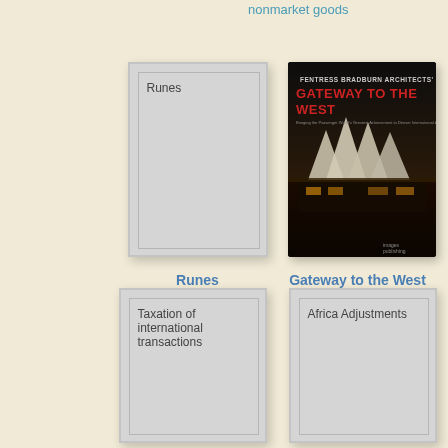nonmarket goods
[Figure (illustration): Book cover placeholder for 'Runes' - gray card with inner border and title text]
Runes
[Figure (photo): Book cover for 'Gateway to the West' by Fentress Bradburn Architects - dark cover with architectural image showing tent-like roof structures]
Gateway to the West
[Figure (illustration): Book cover placeholder for 'Taxation of international transactions' - gray card with inner border and title text]
[Figure (illustration): Book cover placeholder for 'Africa Adjustments' - gray card with inner border and title text]